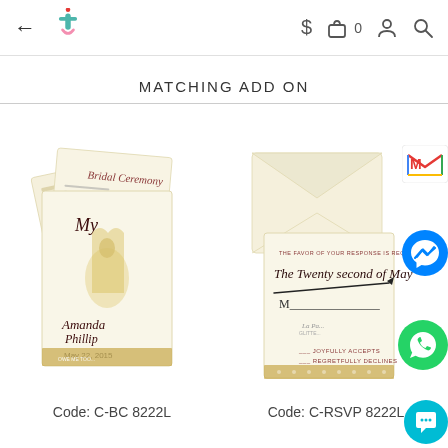← [logo] $ [bag] 0 [person] [search]
MATCHING ADD ON
[Figure (photo): Wedding invitation booklet with illustrated bride and groom figure, cream/ivory color with gold border trim, multiple folded pages shown]
[Figure (photo): Wedding RSVP card with envelope, cream/ivory with gold damask border, text reads 'The Twenty Second of May', reply card with RSVP details]
Code: C-BC 8222L
Code: C-RSVP 8222L